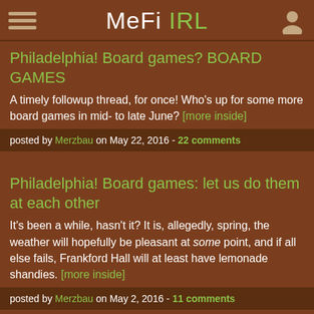MeFi IRL
Philadelphia! Board games? BOARD GAMES
A timely followup thread, for once! Who's up for some more board games in mid- to late June? [more inside]
posted by Merzbau on May 22, 2016 - 22 comments
Philadelphia! Board games: let us do them at each other
It's been a while, hasn't it? It is, allegedly, spring, the weather will hopefully be pleasant at some point, and if all else fails, Frankford Hall will at least have lemonade shandies. [more inside]
posted by Merzbau on May 2, 2016 - 11 comments